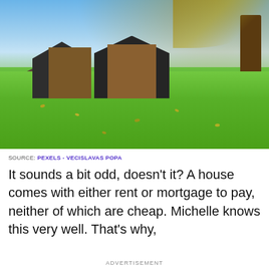[Figure (photo): Exterior photo of modern barn-style houses with dark metal and wood cladding, large windows, set on a lush green lawn with autumn leaves falling. Blue sky background with autumn tree branches visible top-right.]
SOURCE: PEXELS - VECISLAVAS POPA
It sounds a bit odd, doesn't it? A house comes with either rent or mortgage to pay, neither of which are cheap. Michelle knows this very well. That's why,
ADVERTISEMENT